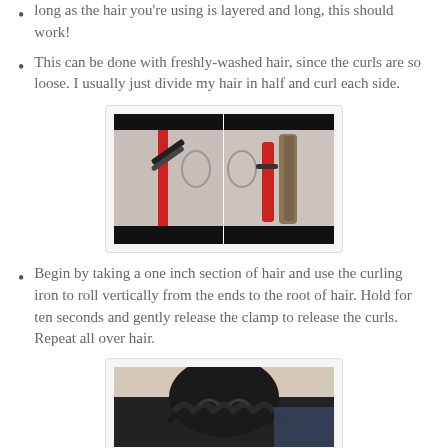long as the hair you're using is layered and long, this should work!
This can be done with freshly-washed hair, since the curls are so loose. I usually just divide my hair in half and curl each side.
[Figure (photo): Two side-by-side photos showing a red curling iron being used on dark hair in front of a mirror with a decorative frame]
Begin by taking a one inch section of hair and use the curling iron to roll vertically from the ends to the root of hair. Hold for ten seconds and gently release the clamp to release the curls. Repeat all over hair.
[Figure (photo): Photo showing curly dark hair from behind]